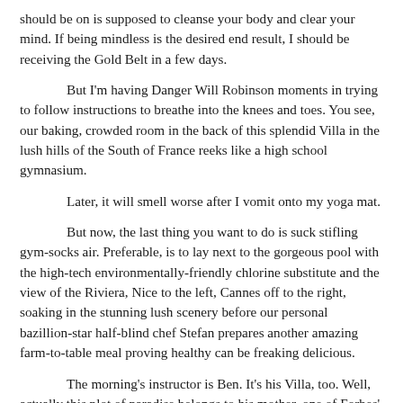should be on is supposed to cleanse your body and clear your mind. If being mindless is the desired end result, I should be receiving the Gold Belt in a few days.
But I'm having Danger Will Robinson moments in trying to follow instructions to breathe into the knees and toes. You see, our baking, crowded room in the back of this splendid Villa in the lush hills of the South of France reeks like a high school gymnasium.
Later, it will smell worse after I vomit onto my yoga mat.
But now, the last thing you want to do is suck stifling gym-socks air. Preferable, is to lay next to the gorgeous pool with the high-tech environmentally-friendly chlorine substitute and the view of the Riviera, Nice to the left, Cannes off to the right, soaking in the stunning lush scenery before our personal bazillion-star half-blind chef Stefan prepares another amazing farm-to-table meal proving healthy can be freaking delicious.
The morning's instructor is Ben. It's his Villa, too. Well, actually this plot of paradise belongs to his mother, one of Forbes'